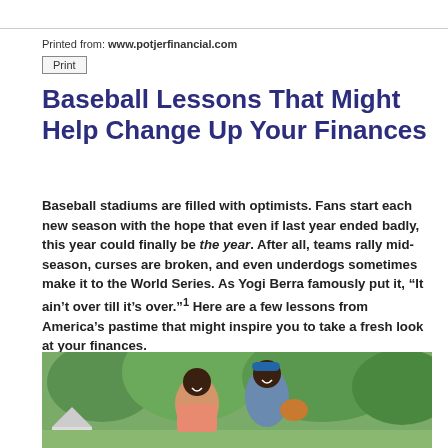Printed from: www.potjerfinancial.com
Print
Baseball Lessons That Might Help Change Up Your Finances
Baseball stadiums are filled with optimists. Fans start each new season with the hope that even if last year ended badly, this year could finally be the year. After all, teams rally mid-season, curses are broken, and even underdogs sometimes make it to the World Series. As Yogi Berra famously put it, “It ain’t over till it’s over.”¹ Here are a few lessons from America’s pastime that might inspire you to take a fresh look at your finances.
[Figure (photo): A smiling couple outdoors, the man wearing a baseball cap and holding a baseball glove, with green trees in the background.]